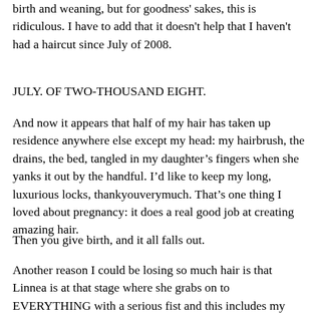birth and weaning, but for goodness' sakes, this is ridiculous. I have to add that it doesn't help that I haven't had a haircut since July of 2008.
JULY. OF TWO-THOUSAND EIGHT.
And now it appears that half of my hair has taken up residence anywhere else except my head: my hairbrush, the drains, the bed, tangled in my daughter's fingers when she yanks it out by the handful. I'd like to keep my long, luxurious locks, thankyouverymuch. That's one thing I loved about pregnancy: it does a real good job at creating amazing hair.
Then you give birth, and it all falls out.
Another reason I could be losing so much hair is that Linnea is at that stage where she grabs on to EVERYTHING with a serious fist and this includes my hair.